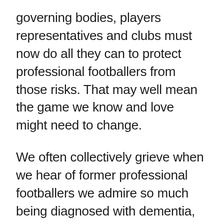governing bodies, players representatives and clubs must now do all they can to protect professional footballers from those risks. That may well mean the game we know and love might need to change.
We often collectively grieve when we hear of former professional footballers we admire so much being diagnosed with dementia, or other progressive neurological diseases, and whose lives are tragically shortened by what we now know may have been avoidable. Each one is a personal tragedy. As a nation who loves football, we owe it to them to come